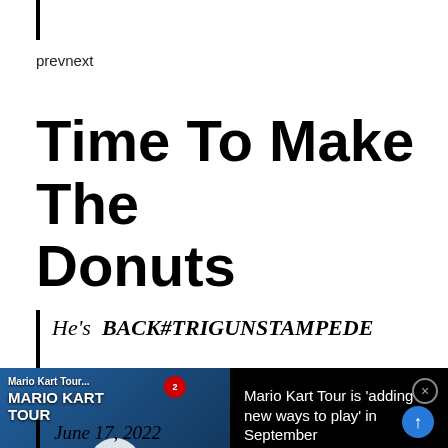prevnext
Time To Make The Donuts
He's BACK#TRIGUNSTAMPEDE
#TRIGUN
[Figure (screenshot): Mario Kart Tour video advertisement overlay with thumbnail showing game characters, play button, and text 'Mario Kart Tour is adding new ways to play in September']
June 17, 2022